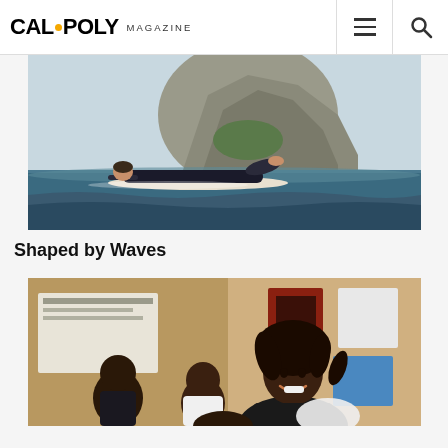CAL POLY MAGAZINE
[Figure (photo): A surfer paddling on a surfboard in ocean water near Morro Rock, a large rocky outcropping in the background. The surfer is lying flat in a wetsuit.]
Shaped by Waves
[Figure (photo): A man with dreadlocks smiling and interacting with young students in a classroom setting. Colorful posters visible on the wall in the background.]